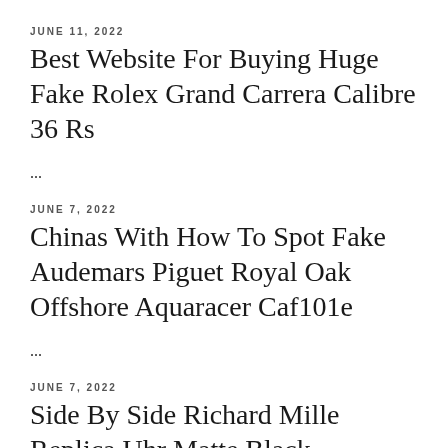JUNE 11, 2022
Best Website For Buying Huge Fake Rolex Grand Carrera Calibre 36 Rs
...
JUNE 7, 2022
Chinas With How To Spot Fake Audemars Piguet Royal Oak Offshore Aquaracer Caf101e
...
JUNE 7, 2022
Side By Side Richard Mille Replica Uhr Matte Black